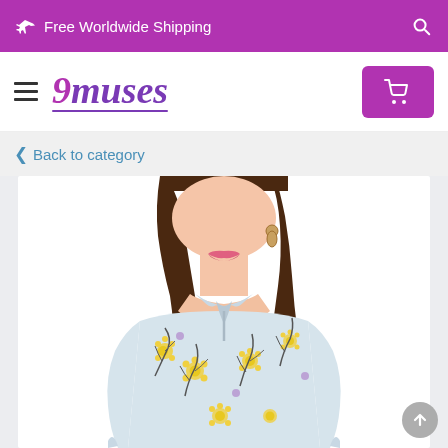✈ Free Worldwide Shipping
[Figure (logo): 9muses logo with hamburger menu and cart button]
< Back to category
[Figure (photo): Woman wearing a light blue floral chiffon blouse with ruffled neckline and tie, featuring yellow and dark floral print, three-quarter sleeves]